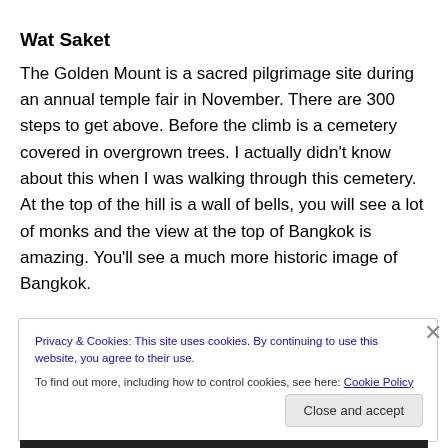Wat Saket
The Golden Mount is a sacred pilgrimage site during an annual temple fair in November. There are 300 steps to get above. Before the climb is a cemetery covered in overgrown trees. I actually didn't know about this when I was walking through this cemetery. At the top of the hill is a wall of bells, you will see a lot of monks and the view at the top of Bangkok is amazing. You'll see a much more historic image of Bangkok.
Privacy & Cookies: This site uses cookies. By continuing to use this website, you agree to their use.
To find out more, including how to control cookies, see here: Cookie Policy
Close and accept